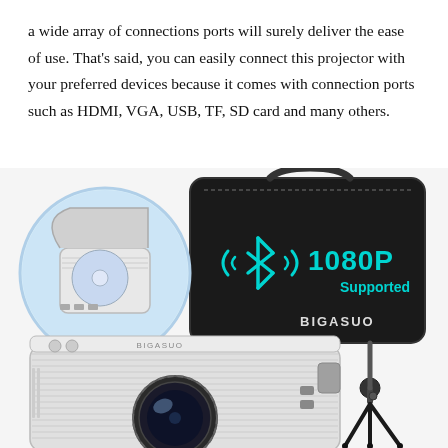a wide array of connections ports will surely deliver the ease of use. That's said, you can easily connect this projector with your preferred devices because it comes with connection ports such as HDMI, VGA, USB, TF, SD card and many others.
[Figure (photo): Product photo of a BIGASUO projector (white, with ridged casing and large lens) on a tripod, a black carrying case labeled with a Bluetooth symbol and '1080P Supported' in teal text, and a circular inset showing a top-view of the projector with its DVD tray open.]